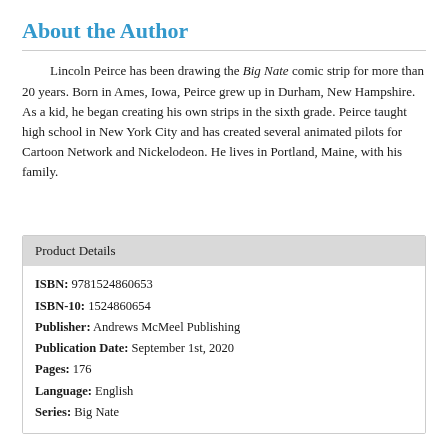About the Author
Lincoln Peirce has been drawing the Big Nate comic strip for more than 20 years. Born in Ames, Iowa, Peirce grew up in Durham, New Hampshire. As a kid, he began creating his own strips in the sixth grade. Peirce taught high school in New York City and has created several animated pilots for Cartoon Network and Nickelodeon. He lives in Portland, Maine, with his family.
| Field | Value |
| --- | --- |
| ISBN | 9781524860653 |
| ISBN-10 | 1524860654 |
| Publisher | Andrews McMeel Publishing |
| Publication Date | September 1st, 2020 |
| Pages | 176 |
| Language | English |
| Series | Big Nate |